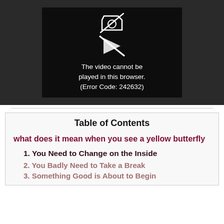[Figure (screenshot): Video player error screen showing a broken video icon with text: 'The video cannot be played in this browser. (Error Code: 242632)' on a dark background]
Table of Contents
what does it mean when you see a yellow butterfly
1. You Need to Change on the Inside
2. You Badly Need to Take a Break
3. Something Good is About to Begin